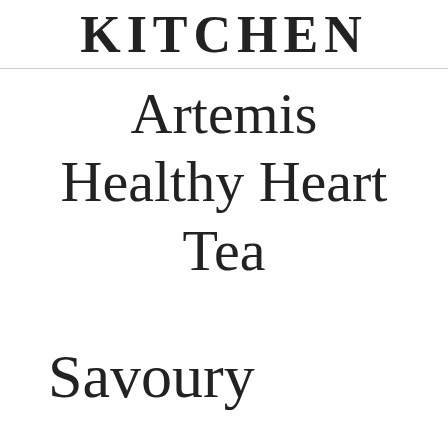KITCHEN
Artemis Healthy Heart Tea
Savoury